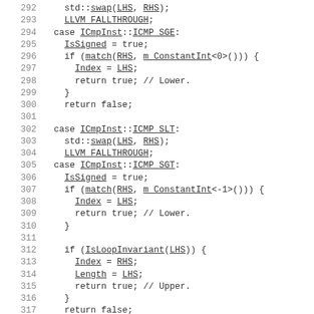Code listing lines 292-321, C++ source code with line numbers
292   std::swap(LHS, RHS);
293   LLVM_FALLTHROUGH;
294 case ICmpInst::ICMP_SGE:
295   IsSigned = true;
296   if (match(RHS, m_ConstantInt<0>())) {
297     Index = LHS;
298     return true; // Lower.
299   }
300   return false;
301
302 case ICmpInst::ICMP_SLT:
303   std::swap(LHS, RHS);
304   LLVM_FALLTHROUGH;
305 case ICmpInst::ICMP_SGT:
306   IsSigned = true;
307   if (match(RHS, m_ConstantInt<-1>())) {
308     Index = LHS;
309     return true; // Lower.
310   }
311
312   if (IsLoopInvariant(LHS)) {
313     Index = RHS;
314     Length = LHS;
315     return true; // Upper.
316   }
317   return false;
318
319 case ICmpInst::ICMP_ULT:
320   std::swap(LHS, RHS);
321   LLVM_FALLTHROUGH;